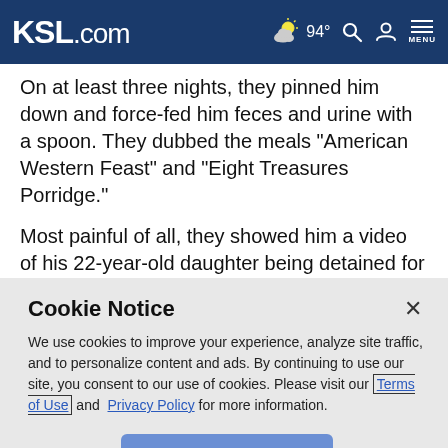KSL.com  94° [weather icon] [search icon] [user icon] MENU
On at least three nights, they pinned him down and force-fed him feces and urine with a spoon. They dubbed the meals "American Western Feast" and "Eight Treasures Porridge."
Most painful of all, they showed him a video of his 22-year-old daughter being detained for 48 hours and interrogated.
His wife, Huang Yimin, visited every official she knew to try
Cookie Notice
We use cookies to improve your experience, analyze site traffic, and to personalize content and ads. By continuing to use our site, you consent to our use of cookies. Please visit our Terms of Use and  Privacy Policy for more information.
Continue